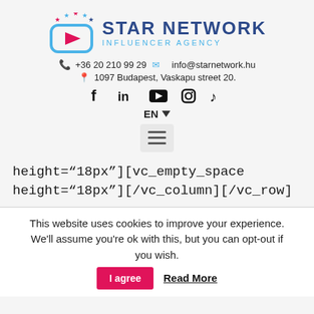[Figure (logo): Star Network Influencer Agency logo with TV icon and stars]
+36 20 210 99 29  info@starnetwork.hu
1097 Budapest, Vaskapu street 20.
[Figure (other): Social media icons: Facebook, LinkedIn, YouTube, Instagram, TikTok]
EN ▼
[Figure (other): Hamburger menu button]
height="18px"][vc_empty_space height="18px"][/vc_column][/vc_row]
This website uses cookies to improve your experience. We'll assume you're ok with this, but you can opt-out if you wish.
I agree  Read More